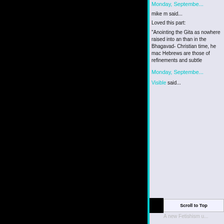[Figure (other): Large black panel on the left side of the page]
Monday, Septembe...
mike m said...
Loved this part:
"Anointing the Gita as nowhere raised into a... than in the Bhagavad-... Christian time, he mac... Hebrews are those of... refinements and subtle...
Monday, Septembe...
Visible said...
Scroll to Top
A new Fetishism u...